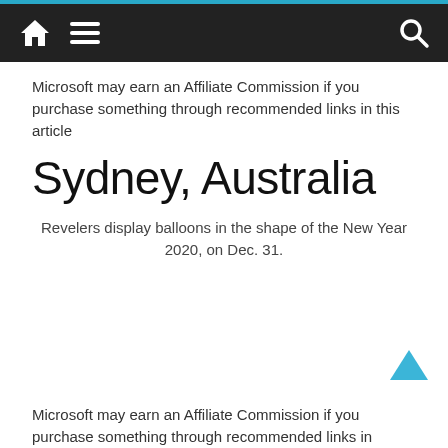[Navigation bar with home icon, menu icon, and search icon]
Microsoft may earn an Affiliate Commission if you purchase something through recommended links in this article
Sydney, Australia
Revelers display balloons in the shape of the New Year 2020, on Dec. 31.
Microsoft may earn an Affiliate Commission if you purchase something through recommended links in